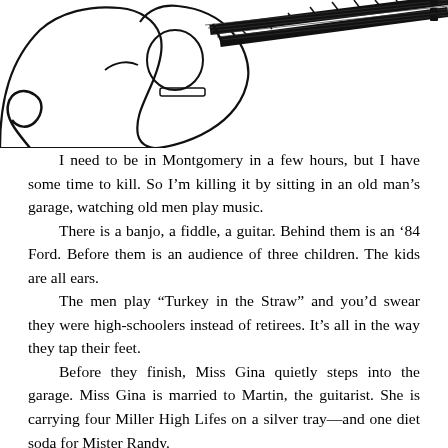[Figure (illustration): Black and white line drawing of an acoustic guitar shown from above/front, with visible strings, frets, tuning pegs, and a strap. The guitar body and neck are partially visible, cropped at the top of the page.]
I need to be in Montgomery in a few hours, but I have some time to kill. So I’m killing it by sitting in an old man’s garage, watching old men play music.
There is a banjo, a fiddle, a guitar. Behind them is an ‘84 Ford. Before them is an audience of three children. The kids are all ears.
The men play “Turkey in the Straw” and you’d swear they were high-schoolers instead of retirees. It’s all in the way they tap their feet.
Before they finish, Miss Gina quietly steps into the garage. Miss Gina is married to Martin, the guitarist. She is carrying four Miller High Lifes on a silver tray—and one diet soda for Mister Randy.
You don’t see many silver trays anymore.